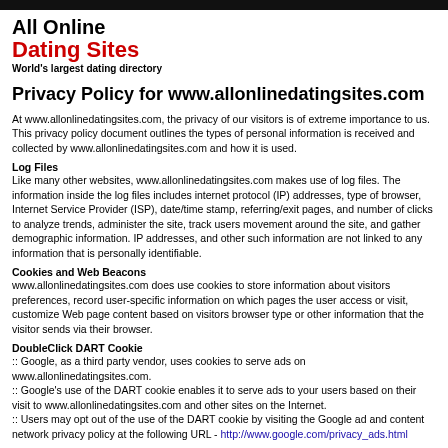All Online Dating Sites
World's largest dating directory
Privacy Policy for www.allonlinedatingsites.com
At www.allonlinedatingsites.com, the privacy of our visitors is of extreme importance to us. This privacy policy document outlines the types of personal information is received and collected by www.allonlinedatingsites.com and how it is used.
Log Files
Like many other websites, www.allonlinedatingsites.com makes use of log files. The information inside the log files includes internet protocol (IP) addresses, type of browser, Internet Service Provider (ISP), date/time stamp, referring/exit pages, and number of clicks to analyze trends, administer the site, track users movement around the site, and gather demographic information. IP addresses, and other such information are not linked to any information that is personally identifiable.
Cookies and Web Beacons
www.allonlinedatingsites.com does use cookies to store information about visitors preferences, record user-specific information on which pages the user access or visit, customize Web page content based on visitors browser type or other information that the visitor sends via their browser.
DoubleClick DART Cookie
:: Google, as a third party vendor, uses cookies to serve ads on www.allonlinedatingsites.com.
:: Google's use of the DART cookie enables it to serve ads to your users based on their visit to www.allonlinedatingsites.com and other sites on the Internet.
:: Users may opt out of the use of the DART cookie by visiting the Google ad and content network privacy policy at the following URL - http://www.google.com/privacy_ads.html
Some of our advertising partners may use cookies and web beacons on our site. Our advertising partners include Google Adsense.